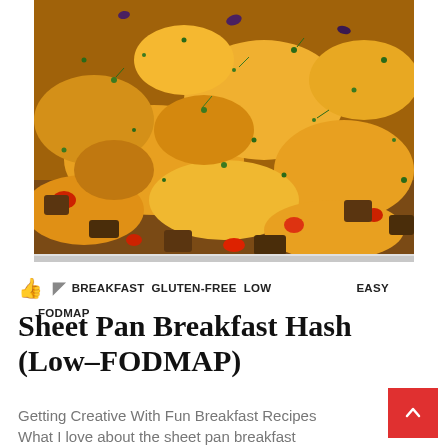[Figure (photo): Close-up photo of sheet pan breakfast hash with melted orange cheddar cheese, chopped herbs, red bell peppers, and roasted potatoes on a foil-lined baking sheet.]
👍  🏷 BREAKFAST GLUTEN-FREE LOW EASY FODMAP
Sheet Pan Breakfast Hash (Low–FODMAP)
Getting Creative With Fun Breakfast Recipes What I love about the sheet pan breakfast...